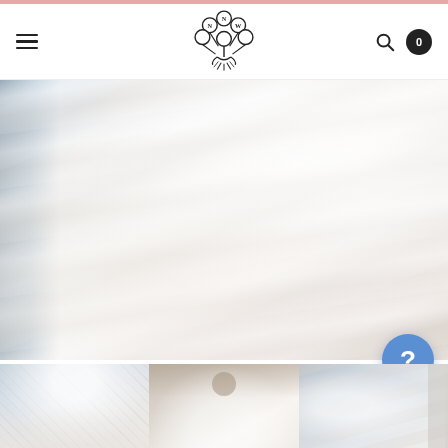NNW bridal boutique navigation header with hamburger menu, logo, search icon, and cart badge showing 0
[Figure (photo): Close-up photo of a white/ivory tulle ball gown wedding dress with voluminous skirt, partially showing room decor on the left side]
[Figure (photo): Thumbnail 1: Detail view of bridal gown showing lace bodice area]
[Figure (photo): Thumbnail 2: Bride from behind wearing the gown in a decorated room]
[Figure (photo): Thumbnail 3: Partial view of bridal gown, cut off on right edge]